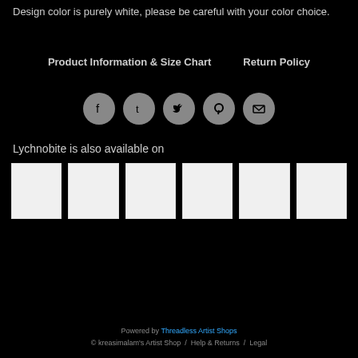Design color is purely white, please be careful with your color choice.
Product Information & Size Chart    Return Policy
[Figure (infographic): Social sharing icons: Facebook, Tumblr, Twitter, Pinterest, Email — circular grey buttons]
Lychnobite is also available on
[Figure (other): Six white thumbnail image placeholders in a row]
Powered by Threadless Artist Shops
© kreasimalam's Artist Shop  /  Help & Returns  /  Legal